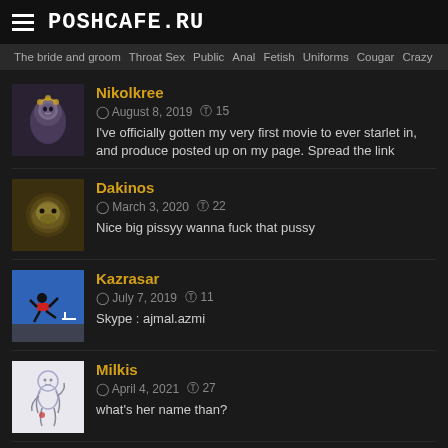POSHCAFE.RU
The bride and groom  Throat Sex  Public  Anal  Fetish  Uniforms  Cougar  Crazy
Nikolkree — August 8, 2019 — 15 likes — I've officially gotten my very first movie to ever starlet in, and produce posted up on my page. Spread the link
Dakinos — March 3, 2020 — 22 likes — Nice big pissyy wanna fuck that pussy
Kazrasar — July 7, 2019 — 11 likes — Skype : ajmal.azmi
Milkis — April 4, 2021 — 27 likes — what's her name than?
Kegami — April 4, 2021 — 24 likes — When it comes to believing in miracles, Christians